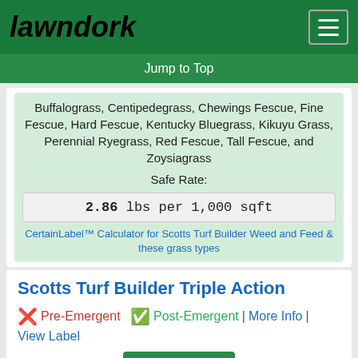lawndork
Jump to Top
Buffalograss, Centipedegrass, Chewings Fescue, Fine Fescue, Hard Fescue, Kentucky Bluegrass, Kikuyu Grass, Perennial Ryegrass, Red Fescue, Tall Fescue, and Zoysiagrass Safe Rate:
2.86 lbs per 1,000 sqft
CertainLabel™ Calculator for Scotts Turf Builder Weed and Feed & these grass types
Scotts Turf Builder Triple Action
❌ Pre-Emergent | ✅ Post-Emergent | More Info | View Label